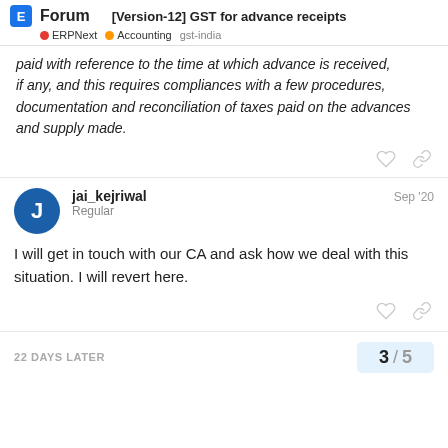[Version-12] GST for advance receipts | Forum | ERPNext | Accounting | gst-india
paid with reference to the time at which advance is received, if any, and this requires compliances with a few procedures, documentation and reconciliation of taxes paid on the advances and supply made.
jai_kejriwal
Regular
Sep '20
I will get in touch with our CA and ask how we deal with this situation. I will revert here.
22 DAYS LATER
3 / 5